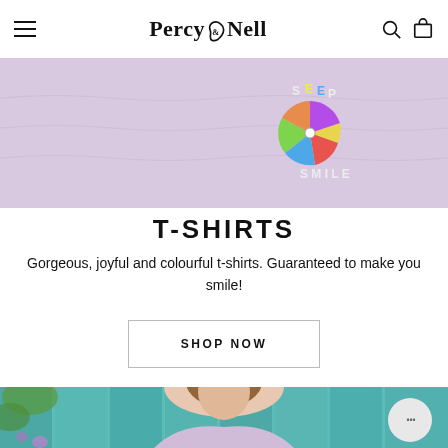Percy & Nell
[Figure (photo): Close-up of a lavender/light purple t-shirt with colourful embroidered design showing letters and a pinwheel/windmill motif. Text visible: SLEEP, SMILE.]
T-SHIRTS
Gorgeous, joyful and colourful t-shirts. Guaranteed to make you smile!
SHOP NOW
[Figure (photo): Photo of a smiling woman with brown hair wearing a light purple/lavender t-shirt, standing in front of a teal/turquoise wooden fence with green foliage.]